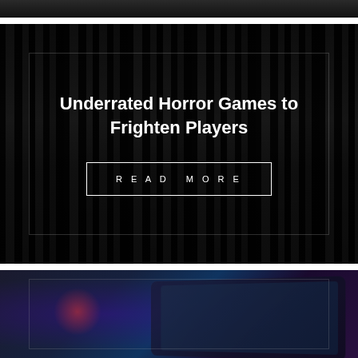[Figure (photo): Top strip of a dark image, partially cut off at top of page]
[Figure (photo): Dark horror-themed card with forest background showing tall dark trees. Contains title text 'Underrated Horror Games to Frighten Players' and a READ MORE button, with an inner rectangular border overlay.]
Underrated Horror Games to Frighten Players
READ MORE
[Figure (photo): Bottom card partially visible showing a dark gaming setup scene with purple/blue lighting, a screen showing a map, and red accent lighting. Contains a partial inner border overlay.]